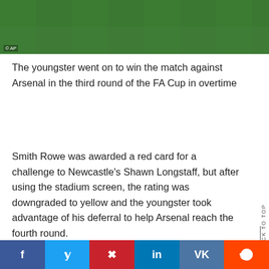[Figure (photo): Soccer player's legs and cleats on a green grass pitch, running during a match. Green turf visible.]
© AP
The youngster went on to win the match against Arsenal in the third round of the FA Cup in overtime
Smith Rowe was awarded a red card for a challenge to Newcastle's Shawn Longstaff, but after using the stadium screen, the rating was downgraded to yellow and the youngster took advantage of his deferral to help Arsenal reach the fourth round.
BACK TO TOP | f  y  p  in  VK  reddit